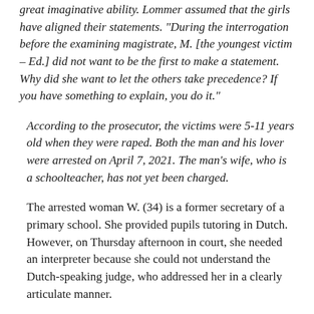great imaginative ability. Lommer assumed that the girls have aligned their statements. "During the interrogation before the examining magistrate, M. [the youngest victim – Ed.] did not want to be the first to make a statement. Why did she want to let the others take precedence? If you have something to explain, you do it."
According to the prosecutor, the victims were 5-11 years old when they were raped. Both the man and his lover were arrested on April 7, 2021. The man's wife, who is a schoolteacher, has not yet been charged.
The arrested woman W. (34) is a former secretary of a primary school. She provided pupils tutoring in Dutch. However, on Thursday afternoon in court, she needed an interpreter because she could not understand the Dutch-speaking judge, who addressed her in a clearly articulate manner.